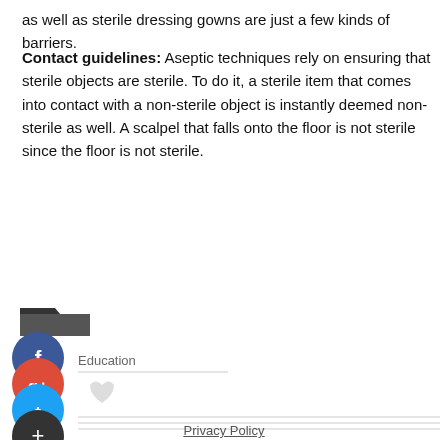as well as sterile dressing gowns are just a few kinds of barriers.
Contact guidelines: Aseptic techniques rely on ensuring that sterile objects are sterile. To do it, a sterile item that comes into contact with a non-sterile object is instantly deemed non-sterile as well. A scalpel that falls onto the floor is not sterile since the floor is not sterile.
[Figure (infographic): Social sharing sidebar with folder icon, Facebook (blue), Google+ (red), Twitter (blue), and a dark plus button, with Education label and category line]
Privacy Policy